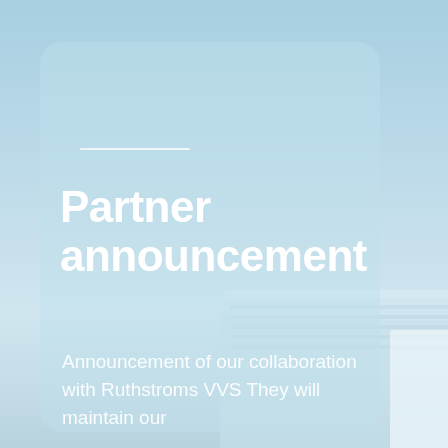[Figure (photo): Background photo of a modern building rooftop against a clear blue sky, with light blue gradient overlay. A frosted glass-effect card panel sits over the image.]
Partner announcement
Announcement of our collaboration with Ruthstroms VVS They will maintain our